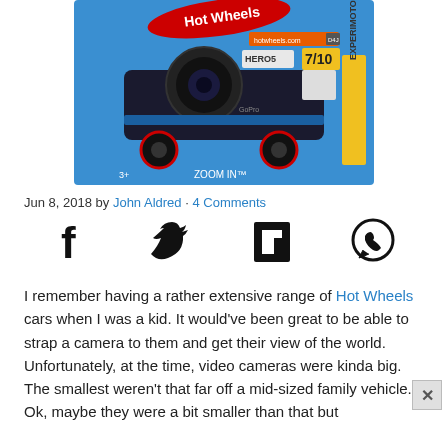[Figure (photo): Hot Wheels toy car packaging — 'Zoom In' model (7/10, Experimotors series), featuring a dark/black car shaped like a camera with large lens, on blue blister card packaging with Hot Wheels logo and Hero 5 branding.]
Jun 8, 2018 by John Aldred · 4 Comments
[Figure (infographic): Social share icons: Facebook (f), Twitter (bird), Flipboard (F), WhatsApp (phone in circle)]
I remember having a rather extensive range of Hot Wheels cars when I was a kid. It would've been great to be able to strap a camera to them and get their view of the world. Unfortunately, at the time, video cameras were kinda big. The smallest weren't that far off a mid-sized family vehicle. Ok, maybe they were a bit smaller than that but